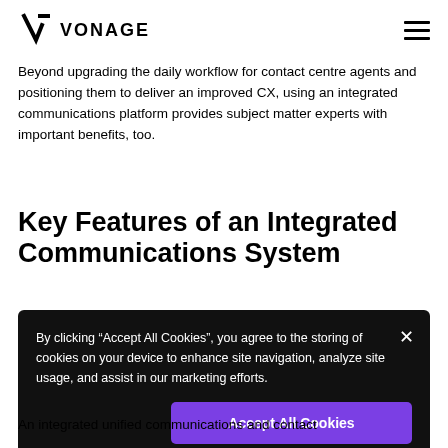VONAGE
Beyond upgrading the daily workflow for contact centre agents and positioning them to deliver an improved CX, using an integrated communications platform provides subject matter experts with important benefits, too.
Key Features of an Integrated Communications System
By clicking “Accept All Cookies”, you agree to the storing of cookies on your device to enhance site navigation, analyze site usage, and assist in our marketing efforts.
An integrated unified communications and contact